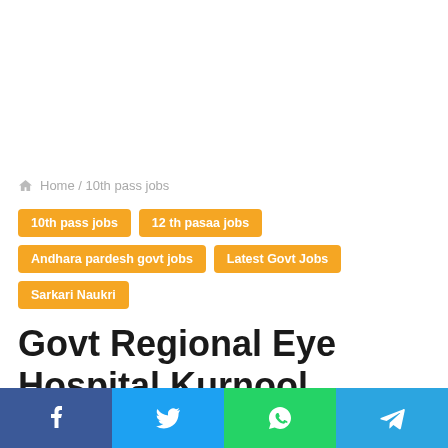Home / 10th pass jobs
10th pass jobs
12 th pasaa jobs
Andhara pardesh govt jobs
Latest Govt Jobs
Sarkari Naukri
Govt Regional Eye Hospital Kurnool Recruitment 2022 Latest Apply Optometrist,